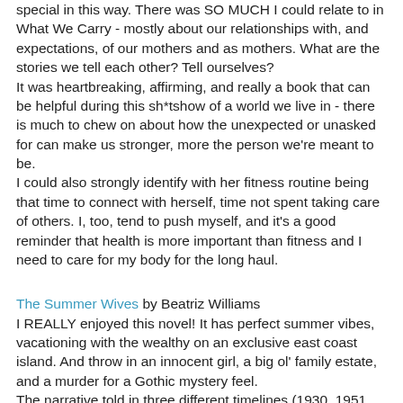special in this way. There was SO MUCH I could relate to in What We Carry - mostly about our relationships with, and expectations, of our mothers and as mothers. What are the stories we tell each other? Tell ourselves?
It was heartbreaking, affirming, and really a book that can be helpful during this sh*tshow of a world we live in - there is much to chew on about how the unexpected or unasked for can make us stronger, more the person we're meant to be.
I could also strongly identify with her fitness routine being that time to connect with herself, time not spent taking care of others. I, too, tend to push myself, and it's a good reminder that health is more important than fitness and I need to care for my body for the long haul.
The Summer Wives by Beatriz Williams
I REALLY enjoyed this novel! It has perfect summer vibes, vacationing with the wealthy on an exclusive east coast island. And throw in an innocent girl, a big ol' family estate, and a murder for a Gothic mystery feel.
The narrative told in three different timelines (1930, 1951, and 1969) perfectly converged to keep me turning pages until the heart pounding conclusion. Some reveals I saw coming, but there were still satisfying plot developments.